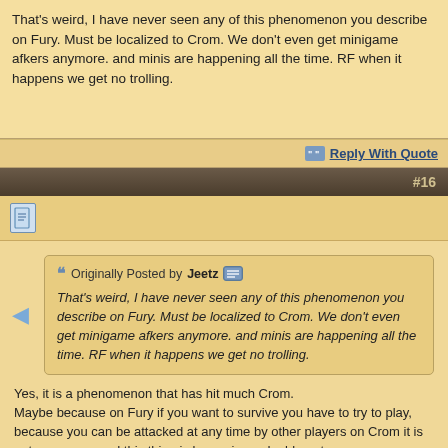That's weird, I have never seen any of this phenomenon you describe on Fury. Must be localized to Crom. We don't even get minigame afkers anymore. and minis are happening all the time. RF when it happens we get no trolling.
Reply With Quote
#16
Originally Posted by Jeetz
That's weird, I have never seen any of this phenomenon you describe on Fury. Must be localized to Crom. We don't even get minigame afkers anymore. and minis are happening all the time. RF when it happens we get no trolling.
Yes, it is a phenomenon that has hit much Crom.
Maybe because on Fury if you want to survive you have to try to play, because you can be attacked at any time by other players on Crom it is not necessary and this thing is becoming a double-cut weapon.
Even though RFs were designed to give people the possibility to